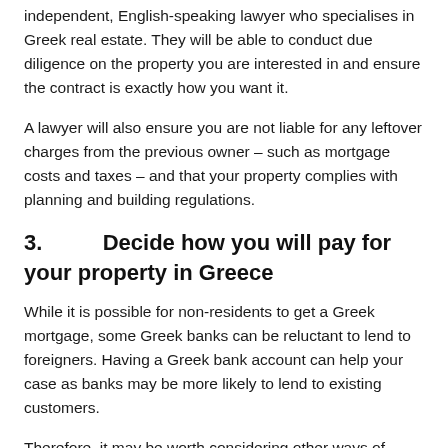independent, English-speaking lawyer who specialises in Greek real estate. They will be able to conduct due diligence on the property you are interested in and ensure the contract is exactly how you want it.
A lawyer will also ensure you are not liable for any leftover charges from the previous owner – such as mortgage costs and taxes – and that your property complies with planning and building regulations.
3.      Decide how you will pay for your property in Greece
While it is possible for non-residents to get a Greek mortgage, some Greek banks can be reluctant to lend to foreigners. Having a Greek bank account can help your case as banks may be more likely to lend to existing customers.
Therefore, it may be worth considering other ways of paying for your Greek property. Some common methods include equity release, renting out a property in the UK and